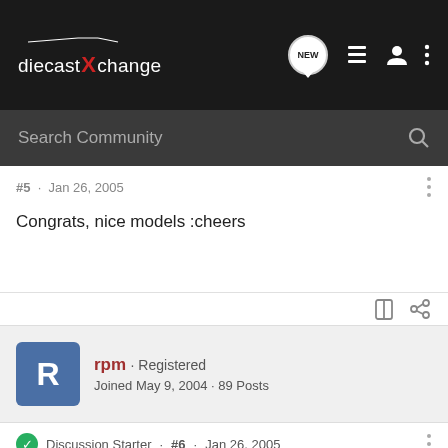diecastXchange — Search Community
#5 · Jan 26, 2005
Congrats, nice models :cheers
rpm · Registered
Joined May 9, 2004 · 89 Posts
Discussion Starter · #6 · Jan 26, 2005